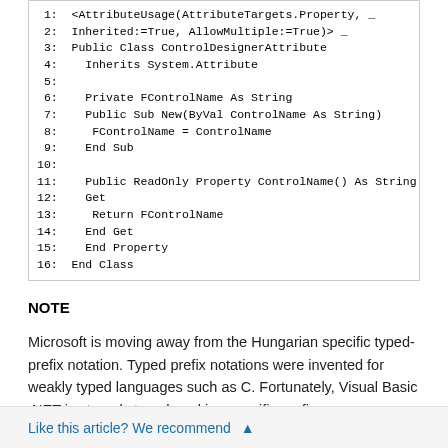1:  <AttributeUsage(AttributeTargets.Property, _
 2:  Inherited:=True, AllowMultiple:=True)> _
 3:  Public Class ControlDesignerAttribute
 4:    Inherits System.Attribute
 5:
 6:    Private FControlName As String
 7:    Public Sub New(ByVal ControlName As String)
 8:     FControlName = ControlName
 9:    End Sub
10:
11:    Public ReadOnly Property ControlName() As String
12:    Get
13:     Return FControlName
14:    End Get
15:    End Property
16:  End Class
NOTE
Microsoft is moving away from the Hungarian specific typed-prefix notation. Typed prefix notations were invented for weakly typed languages such as C. Fortunately, Visual Basic .NET is strongly typed, making specific prefixes unnecessary.
However, because Visual Basic .NET isn't case sensitive, we
Like this article? We recommend